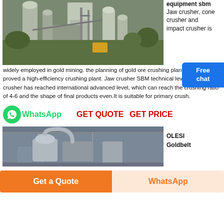[Figure (photo): Industrial crushing plant equipment with silos and machinery, outdoor setting with trees in background]
equipment sbm
Jaw crusher, cone crusher and impact crusher is widely employed in gold mining. the planning of gold ore crushing plant has been proved a high-efficiency crushing plant. Jaw crusher SBM technical level of jaw crusher has reached international advanced level, which can reach the crushing ratio of 4-6 and the shape of final products even.It is suitable for primary crush.
[Figure (photo): Free chat customer service icon with person illustration]
[Figure (logo): WhatsApp green circle phone icon]
WhatsApp    GET QUOTE   GET PRICE
[Figure (photo): Industrial indoor machinery/equipment in warehouse setting]
OLESI Goldbelt
Get a Quote
WhatsApp